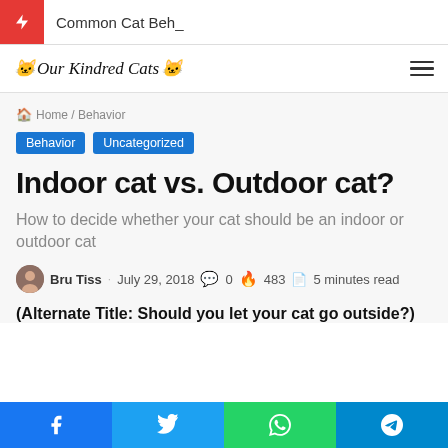Common Cat Beh_
Our Kindred Cats
Home / Behavior
Behavior   Uncategorized
Indoor cat vs. Outdoor cat?
How to decide whether your cat should be an indoor or outdoor cat
Bru Tiss · July 29, 2018 · 0 · 483 · 5 minutes read
(Alternate Title: Should you let your cat go outside?)